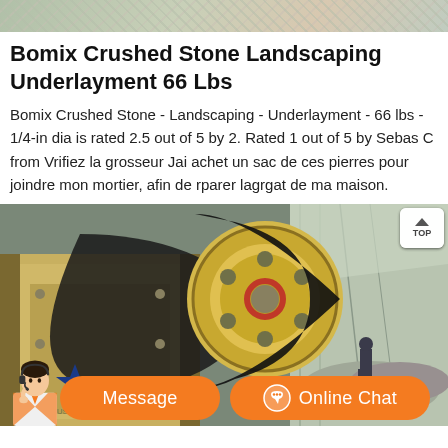[Figure (photo): Top partial image of landscaping stone/crushed rock material from above]
Bomix Crushed Stone Landscaping Underlayment 66 Lbs
Bomix Crushed Stone - Landscaping - Underlayment - 66 lbs - 1/4-in dia is rated 2.5 out of 5 by 2. Rated 1 out of 5 by Sebas C from Vrifiez la grosseur Jai achet un sac de ces pierres pour joindre mon mortier, afin de rparer lagrgat de ma maison.
[Figure (photo): Industrial stone crushing machine with large pulley wheel and belt drive system in a factory setting, worker visible in background right]
Message
Online Chat